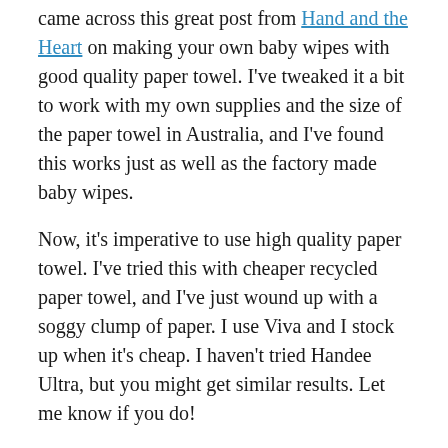came across this great post from Hand and the Heart on making your own baby wipes with good quality paper towel. I've tweaked it a bit to work with my own supplies and the size of the paper towel in Australia, and I've found this works just as well as the factory made baby wipes.
Now, it's imperative to use high quality paper towel. I've tried this with cheaper recycled paper towel, and I've just wound up with a soggy clump of paper. I use Viva and I stock up when it's cheap. I haven't tried Handee Ultra, but you might get similar results. Let me know if you do!
In my version of these wipes I use tea tree and lavender oils and because of that they don't go near my daughters mouth or hands, I only use these on her lower body. I have another version of this that I use for face wipes that I'll be posting at a later date. You don't have to use the essential oils, but you might want to check the bottom of the page.